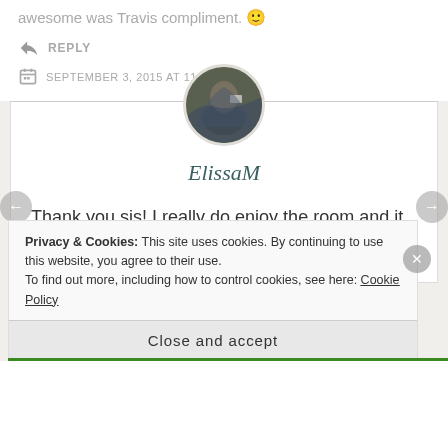awesome was Travis compliment. 🙂
↪ REPLY
SEPTEMBER 3, 2015 AT 11:01 AM
[Figure (photo): Circular avatar photo of a person, appears to show a dark-toned outdoor scene]
ElissaM
Thank you sis! I really do enjoy the room and it was fun to decorate!
Privacy & Cookies: This site uses cookies. By continuing to use this website, you agree to their use.
To find out more, including how to control cookies, see here: Cookie Policy
Close and accept